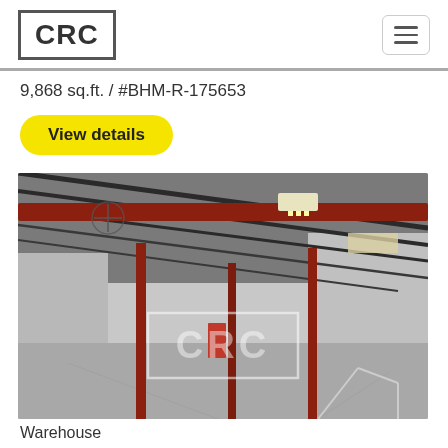CRC
9,868 sq.ft. / #BHM-R-175653
View details
[Figure (photo): Interior of a large warehouse with metal roof structure, red steel beams, concrete floor, and CRC watermark overlay]
Warehouse